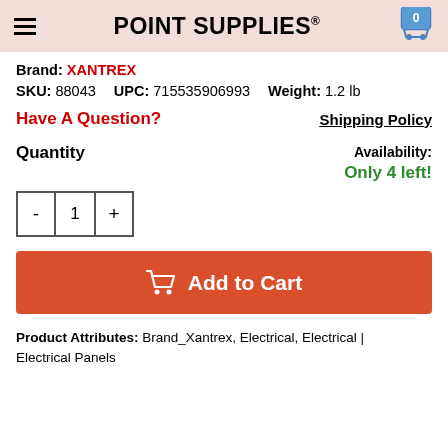POINT SUPPLIES®
Was $33.71
Brand: XANTREX
SKU: 88043    UPC: 715535906993    Weight: 1.2 lb
Have A Question?    Shipping Policy
Quantity    Availability: Only 4 left!
Add to Cart
Product Attributes: Brand_Xantrex, Electrical, Electrical | Electrical Panels